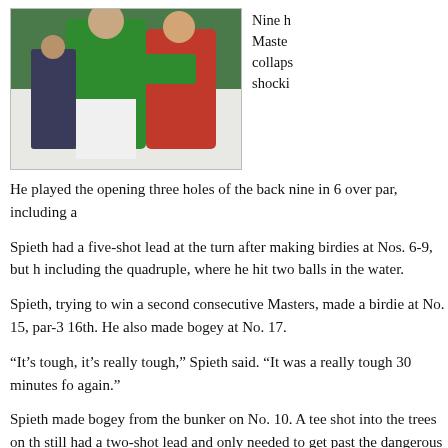[Figure (photo): Photo of golfer being helped into the green Masters jacket by another person during the Masters tournament ceremony.]
Nine h Masters collaps shocki
He played the opening three holes of the back nine in 6 over par, including a
Spieth had a five-shot lead at the turn after making birdies at Nos. 6-9, but h including the quadruple, where he hit two balls in the water.
Spieth, trying to win a second consecutive Masters, made a birdie at No. 15, par-3 16th. He also made bogey at No. 17.
“It’s tough, it’s really tough,” Spieth said. “It was a really tough 30 minutes fo again.”
Spieth made bogey from the bunker on No. 10. A tee shot into the trees on th still had a two-shot lead and only needed to get past the dangerous par-3 12 par 5s in front of him.
His 9-iron sailed to the right, bounded off the slope and into the water. His w Spieth turned his head as the ball plopped into the water again. He had to ge make a quadruple-bogey 7.